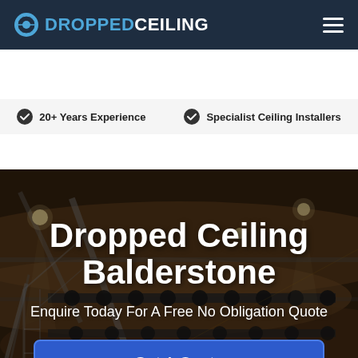DROPPED CEILING
20+ Years Experience · Specialist Ceiling Installers
[Figure (photo): Interior photo of a large room with a decorative dropped/suspended ceiling featuring curved panels, recessed lighting, and structural trusses visible, shot from below at an angle with warm amber/brown tones]
Dropped Ceiling Balderstone
Enquire Today For A Free No Obligation Quote
Get A Quote